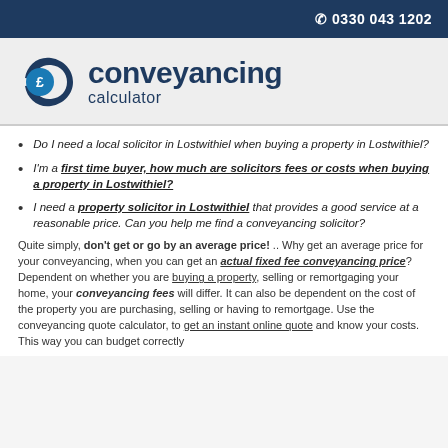0330 043 1202
[Figure (logo): Conveyancing Calculator logo with stylized C and pound sign icon]
Do I need a local solicitor in Lostwithiel when buying a property in Lostwithiel?
I'm a first time buyer, how much are solicitors fees or costs when buying a property in Lostwithiel?
I need a property solicitor in Lostwithiel that provides a good service at a reasonable price. Can you help me find a conveyancing solicitor?
Quite simply, don't get or go by an average price! ... Why get an average price for your conveyancing, when you can get an actual fixed fee conveyancing price? Dependent on whether you are buying a property, selling or remortgaging your home, your conveyancing fees will differ. It can also be dependent on the cost of the property you are purchasing, selling or having to remortgage. Use the conveyancing quote calculator, to get an instant online quote and know your costs. This way you can budget correctly